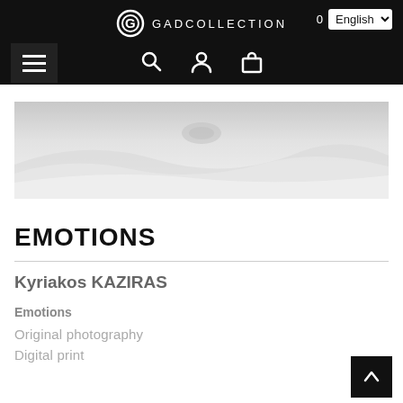GADCOLLECTION — navigation header with logo, hamburger menu, search, account, cart icons, language selector (English), cart count 0
[Figure (photo): Black and white close-up photograph of fabric or cloth with soft folds, mostly white/light grey tones]
EMOTIONS
Kyriakos KAZIRAS
Emotions
Original photography
Digital print